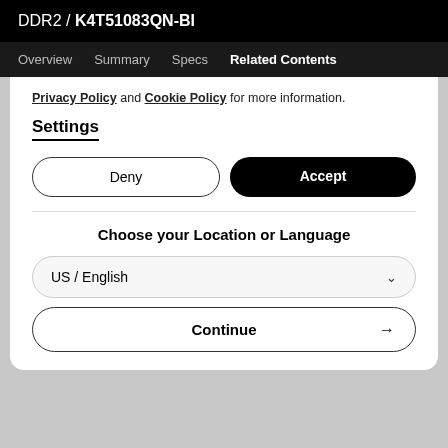DDR2 / K4T51083QN-BI
Overview  Summary  Specs  Related Contents
Privacy Policy and Cookie Policy for more information.
Settings
Deny
Accept
Choose your Location or Language
US / English
Continue